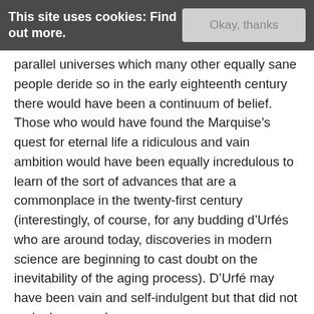This site uses cookies: Find out more.
parallel universes which many other equally sane people deride so in the early eighteenth century there would have been a continuum of belief.  Those who would have found the Marquise’s quest for eternal life a ridiculous and vain ambition would have been equally incredulous to learn of the sort of advances that are a commonplace in the twenty-first century (interestingly, of course, for any budding d’Urfés who are around today, discoveries in modern science are beginning to cast doubt on the inevitability of the aging process). D’Urfé may have been vain and self-indulgent but that did not make her a mad-woman.
D’Urfé surrounded herself with card readers, chemists, hypnotists and occultists of various kinds. She had her